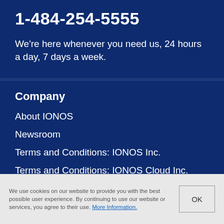1-484-254-5555
We're here whenever you need us, 24 hours a day, 7 days a week.
Company
About IONOS
Newsroom
Terms and Conditions: IONOS Inc.
Terms and Conditions: IONOS Cloud Inc.
We use cookies on our website to provide you with the best possible user experience. By continuing to use our website or services, you agree to their use. More Information.